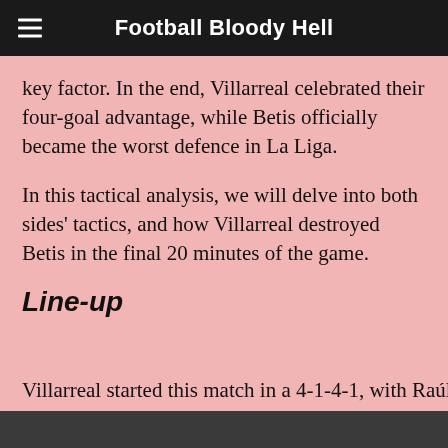Football Bloody Hell
key factor. In the end, Villarreal celebrated their four-goal advantage, while Betis officially became the worst defence in La Liga.
In this tactical analysis, we will delve into both sides' tactics, and how Villarreal destroyed Betis in the final 20 minutes of the game.
Line-up
Villarreal started this match in a 4-1-4-1, with Raúl
We use cookies to ensure that we give you the best experience on our website. If you continue to use this site we will assume that you are happy with it.